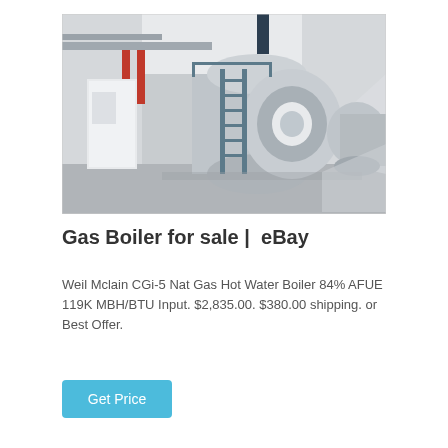[Figure (photo): Industrial gas boilers in a factory/plant building. Large cylindrical blue-grey boilers with red and silver pipes, metal stairs/ladders, white walls, and concrete floor.]
Gas Boiler for sale | eBay
Weil Mclain CGi-5 Nat Gas Hot Water Boiler 84% AFUE 119K MBH/BTU Input. $2,835.00. $380.00 shipping. or Best Offer.
Get Price